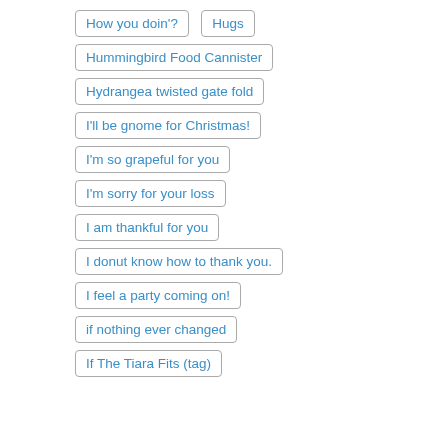How you doin'?
Hugs
Hummingbird Food Cannister
Hydrangea twisted gate fold
I'll be gnome for Christmas!
I'm so grapeful for you
I'm sorry for your loss
I am thankful for you
I donut know how to thank you.
I feel a party coming on!
if nothing ever changed
If The Tiara Fits (tag)